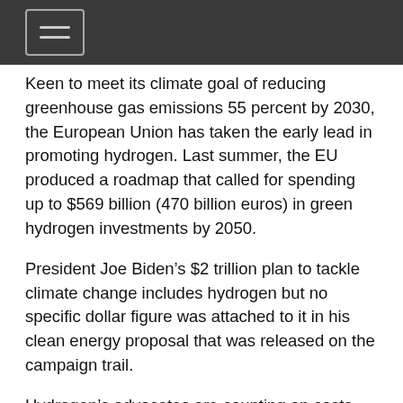Keen to meet its climate goal of reducing greenhouse gas emissions 55 percent by 2030, the European Union has taken the early lead in promoting hydrogen. Last summer, the EU produced a roadmap that called for spending up to $569 billion (470 billion euros) in green hydrogen investments by 2050.
President Joe Biden’s $2 trillion plan to tackle climate change includes hydrogen but no specific dollar figure was attached to it in his clean energy proposal that was released on the campaign trail.
Hydrogen’s advocates are counting on costs coming down as the hydrogen becomes more ubiquitous — similar to the economies of scale that have led to steep declines in the costs of solar, wind and batteries. There are certainly no guarantees that hydrogen can duplicate that but analysts